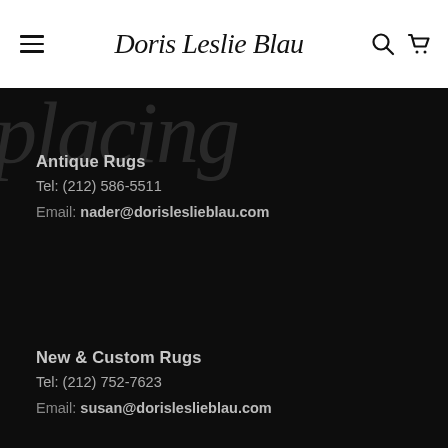Doris Leslie Blau — navigation bar with hamburger menu, logo, search and cart icons
[Figure (screenshot): Decorative large italic background text partially visible at top of dark section]
Antique Rugs
Tel: (212) 586-5511
Email: nader@dorisleslieblau.com
New & Custom Rugs
Tel: (212) 752-7623
Email: susan@dorisleslieblau.com